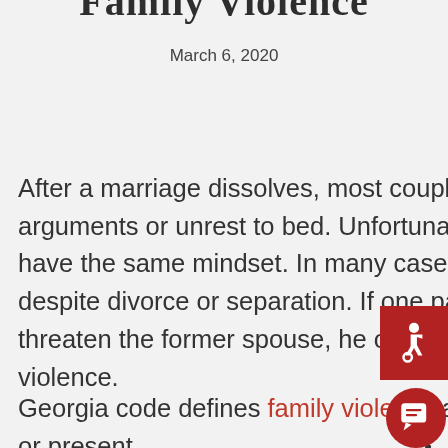Family Violence
March 6, 2020
After a marriage dissolves, most couples hope that they can put any arguments or unrest to bed. Unfortunately, some ex-spouses do not have the same mindset. In many cases, arguments may continue despite divorce or separation. If one party continues to harass, stalk or threaten the former spouse, he or she may face charges of family violence.
Georgia code defines family violence as certain acts performed by past or present